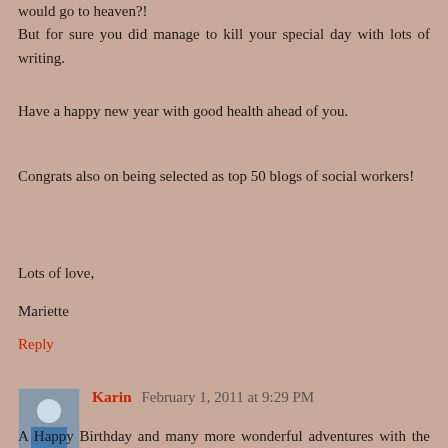would go to heaven?! But for sure you did manage to kill your special day with lots of writing.
Have a happy new year with good health ahead of you.
Congrats also on being selected as top 50 blogs of social workers!
Lots of love,
Mariette
Reply
Karin February 1, 2011 at 9:29 PM
A Happy Birthday and many more wonderful adventures with the Lord in the year ahead! Beautiful flowers and what a lovely story of Sweet Marie!
Reply